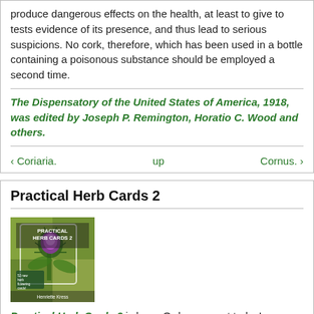produce dangerous effects on the health, at least to give to tests evidence of its presence, and thus lead to serious suspicions. No cork, therefore, which has been used in a bottle containing a poisonous substance should be employed a second time.
The Dispensatory of the United States of America, 1918, was edited by Joseph P. Remington, Horatio C. Wood and others.
‹ Coriaria.    up    Cornus. ›
Practical Herb Cards 2
[Figure (photo): Book cover of Practical Herb Cards 2 by Henriette Kress, showing a purple thistle flower against a green blurred background.]
Practical Herb Cards 2 is here. Order your set today!